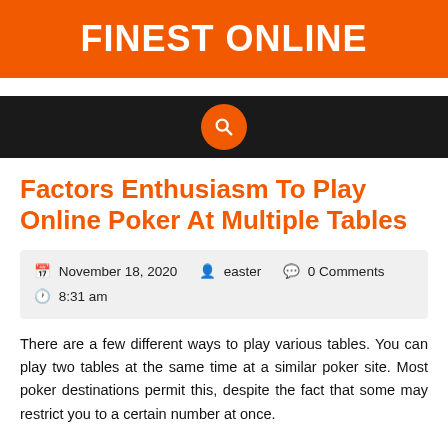FINEST ONLINE
Factors Enthusiasm To Play Online Poker At Multiple Tables
November 18, 2020  easter  0 Comments  8:31 am
There are a few different ways to play various tables. You can play two tables at the same time at a similar poker site. Most poker destinations permit this, despite the fact that some may restrict you to a certain number at once.